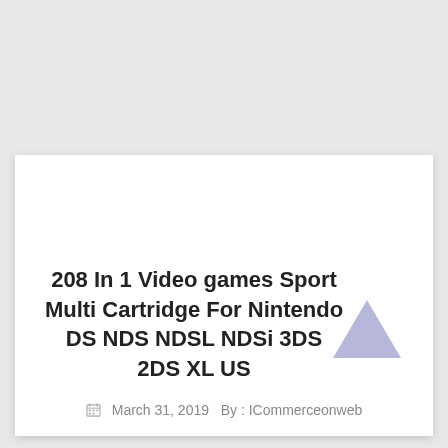208 In 1 Video games Sport Multi Cartridge For Nintendo DS NDS NDSL NDSi 3DS 2DS XL US
March 31, 2019  By : ICommerceonweb